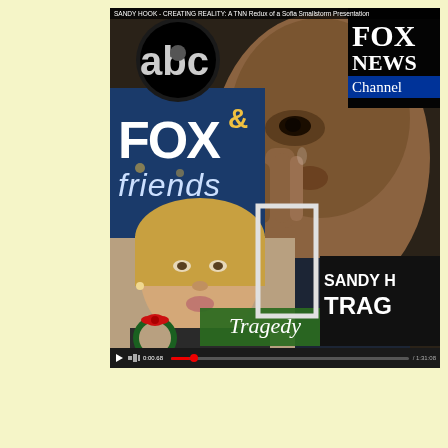[Figure (screenshot): Screenshot of a video collage titled 'SANDY HOOK - CREATING REALITY: A TNN Redux of a Sofia Smallstorm Presentation'. The image shows a composite of media screenshots: ABC News logo, Fox News Channel logo, Fox & Friends logo, a close-up of a man's tearful face (likely President Obama), a woman being interviewed with a Christmas wreath visible, green lower-third chyron reading 'Tragedy', video player controls at the bottom, and a partially cropped Fox News graphic reading 'SANDY H... TRAG...' in the lower right.]